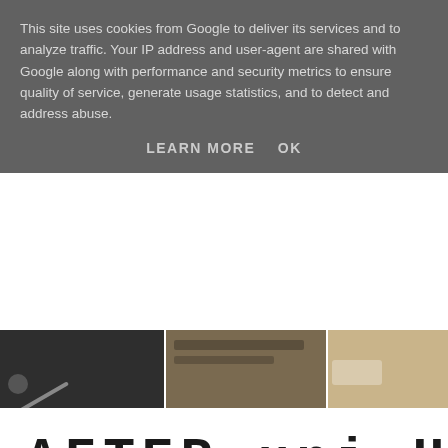This site uses cookies from Google to deliver its services and to analyze traffic. Your IP address and user-agent are shared with Google along with performance and security metrics to ensure quality of service, generate usage statistics, and to detect and address abuse.
LEARN MORE   OK
[Figure (photo): A horizontal strip of three photos showing indoor scenes, partially visible behind the cookie banner.]
[Figure (illustration): Handwritten-style text reading 'AFTER uni HA' (partially cropped) in large black marker-style lettering on white background.]
Belgrave LS2 8JP
Belgrave should be an integral location for any remotely Cool student who pizza. Their resident Dough Boys serve up a range of pizzas which you ca uni before 7pm (Sun-Thurs) they're half price. Downstairs is comfy seating upstairs (and more stairs) is the rooftop bar which is GLORIOUS in the su first sight of sunlight. They also host the 'Belgrave Feast' every second